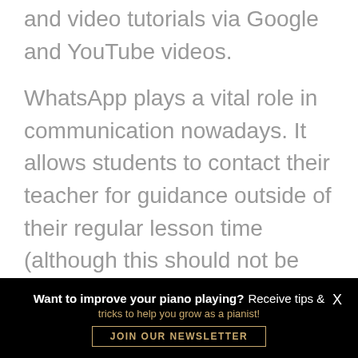and video tutorials via Google and YouTube videos.
WhatsApp plays a vital role in communication nowadays. It allows students to contact their teacher for guidance outside of their regular lesson time (although this should not be misused.)
Still, it is often needed for the student to...
Want to improve your piano playing? Receive tips & tricks to help you grow as a pianist! JOIN OUR NEWSLETTER